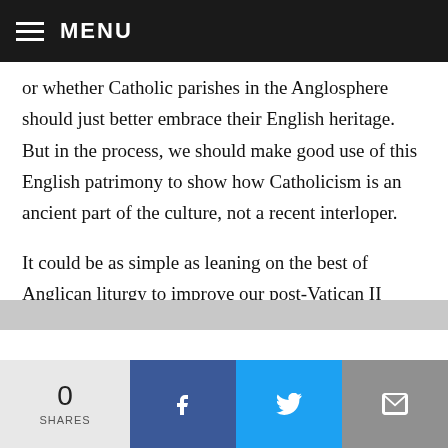MENU
or whether Catholic parishes in the Anglosphere should just better embrace their English heritage. But in the process, we should make good use of this English patrimony to show how Catholicism is an ancient part of the culture, not a recent interloper.
It could be as simple as leaning on the best of Anglican liturgy to improve our post-Vatican II vernacular Masses since they’ve been doing it for much longer. The triumphant hymns, like “Praise, My Soul, the King of Heaven,” “Jesus Christ Is Risen Today,” “Lift High the